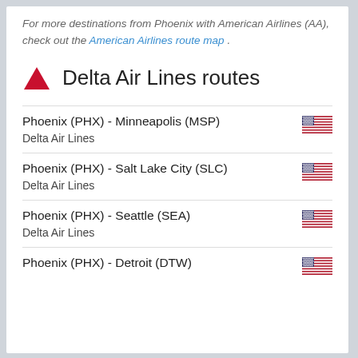For more destinations from Phoenix with American Airlines (AA), check out the American Airlines route map .
Delta Air Lines routes
Phoenix (PHX) - Minneapolis (MSP)
Delta Air Lines
Phoenix (PHX) - Salt Lake City (SLC)
Delta Air Lines
Phoenix (PHX) - Seattle (SEA)
Delta Air Lines
Phoenix (PHX) - Detroit (DTW)